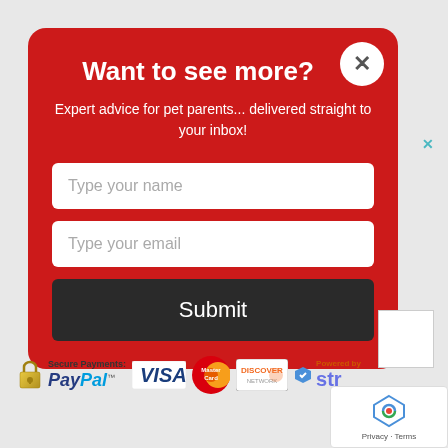Want to see more?
Expert advice for pet parents... delivered straight to your inbox!
[Figure (screenshot): Email signup modal form with name field, email field, and Submit button on red background]
[Figure (logo): Payment logos bar: Secure Payments: PayPal, VISA, MasterCard, Discover, Stripe (Powered by)]
[Figure (logo): Google reCAPTCHA badge with Privacy and Terms links]